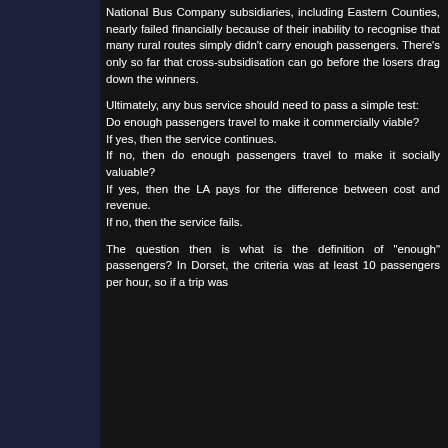National Bus Company subsidiaries, including Eastern Counties, nearly failed financially because of their inability to recognise that many rural routes simply didn't carry enough passengers. There's only so far that cross-subsidisation can go before the losers drag down the winners.
Ultimately, any bus service should need to pass a simple test:
Do enough passengers travel to make it commercially viable?
If yes, then the service continues.
If no, then do enough passengers travel to make it socially valuable?
If yes, then the LA pays for the difference between cost and revenue.
If no, then the service fails.
The question then is what is the definition of "enough" passengers? In Dorset, the criteria was at least 10 passengers per hour, so if a trip was